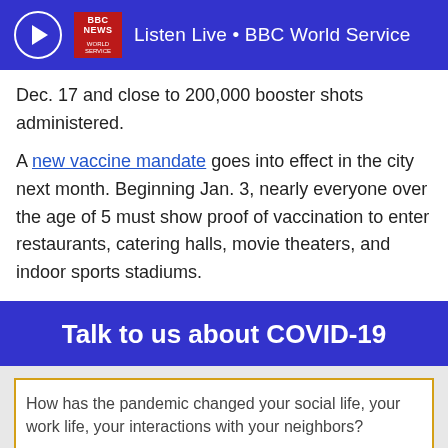Listen Live • BBC World Service
Dec. 17 and close to 200,000 booster shots administered.
A new vaccine mandate goes into effect in the city next month. Beginning Jan. 3, nearly everyone over the age of 5 must show proof of vaccination to enter restaurants, catering halls, movie theaters, and indoor sports stadiums.
Talk to us about COVID-19
How has the pandemic changed your social life, your work life, your interactions with your neighbors?
0/250